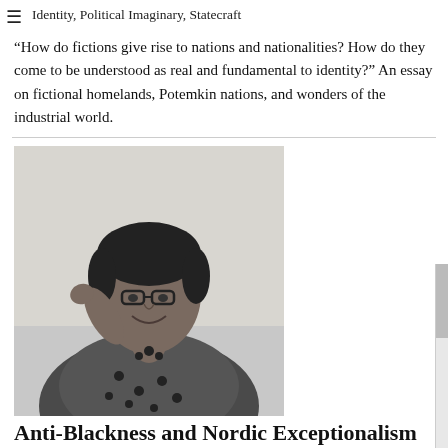Identity, Political Imaginary, Statecraft
“How do fictions give rise to nations and nationalities? How do they come to be understood as real and fundamental to identity?” An essay on fictional homelands, Potemkin nations, and wonders of the industrial world.
[Figure (photo): Black and white photograph of a woman smiling, wearing glasses, with her hand raised near her head. She is wearing a patterned blouse.]
Anti-Blackness and Nordic Exceptionalism
The Funambulist Podcast
Léopold Lambert, Margarida Waco, Awa Konaté
PUBLISHER: The Funambulist, 2020
FORMATS: Interviews, Podcasts   SUBJECTS: Colonialism, Historiography, Nations, Postcolonialism, Racism   KEYWORDS: Blackness, Cultural History, Decoloniality, Eurozone